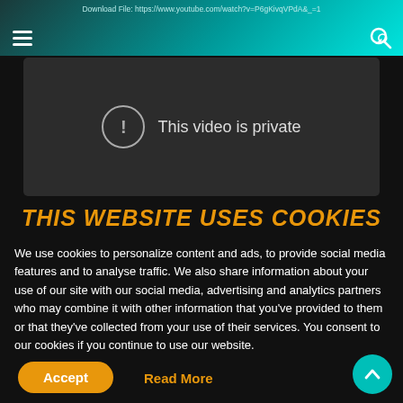Download File: https://www.youtube.com/watch?v=P6gKivqVPdA&_=1
[Figure (screenshot): YouTube video player showing 'This video is private' message with an exclamation icon inside a circle, on a dark gray background]
THIS WEBSITE USES COOKIES
We use cookies to personalize content and ads, to provide social media features and to analyse traffic. We also share information about your use of our site with our social media, advertising and analytics partners who may combine it with other information that you've provided to them or that they've collected from your use of their services. You consent to our cookies if you continue to use our website.